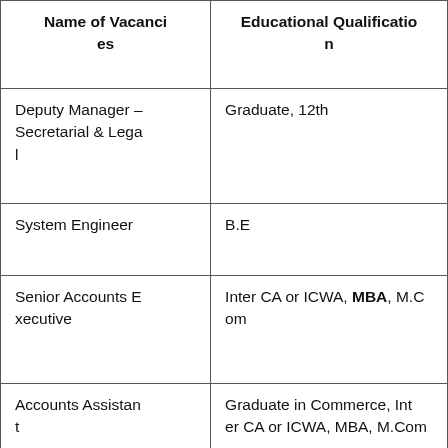| Name of Vacancies | Educational Qualification |
| --- | --- |
| Deputy Manager – Secretarial & Legal | Graduate, 12th |
| System Engineer | B.E |
| Senior Accounts Executive | Inter CA or ICWA, MBA, M.Com |
| Accounts Assistant | Graduate in Commerce, Inter CA or ICWA, MBA, M.Com |
|  |  |